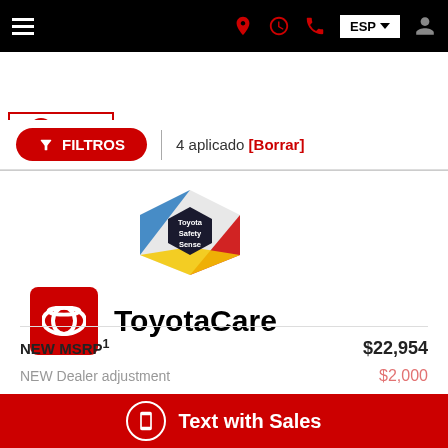[Figure (screenshot): Mobile website navigation bar with hamburger menu, location icon, clock icon, phone icon, ESP language selector button, and user profile icon on black background]
[Figure (logo): Gale Toyota dealer logo with red border, Toyota SmartPath branding, Shop Toyota Online link, and share button]
▼ FILTROS  |  4 aplicado  [Borrar]
[Figure (logo): Toyota Safety Sense hexagonal badge logo with colorful background]
[Figure (logo): ToyotaCare logo with red Toyota icon square and ToyotaCare text]
NEW MSRP¹  $22,954
NEW Dealer adjustment  $2,000
Text with Sales